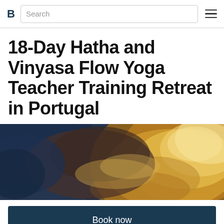B  Search  ≡
18-Day Hatha and Vinyasa Flow Yoga Teacher Training Retreat in Portugal
[Figure (photo): Dramatic sky with golden-lit clouds against a dark blue sky, viewed from below]
Book now
Ask a question